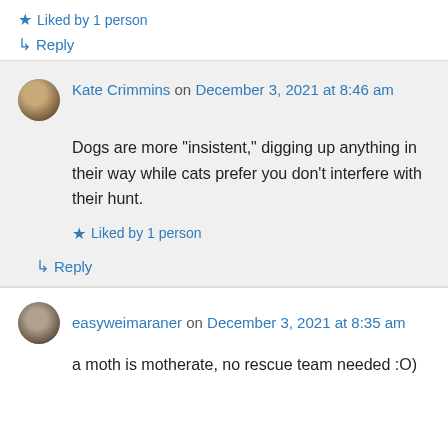★ Liked by 1 person
↳ Reply
Kate Crimmins on December 3, 2021 at 8:46 am
Dogs are more "insistent," digging up anything in their way while cats prefer you don't interfere with their hunt.
★ Liked by 1 person
↳ Reply
easyweimaraner on December 3, 2021 at 8:35 am
a moth is motherate, no rescue team needed :O)